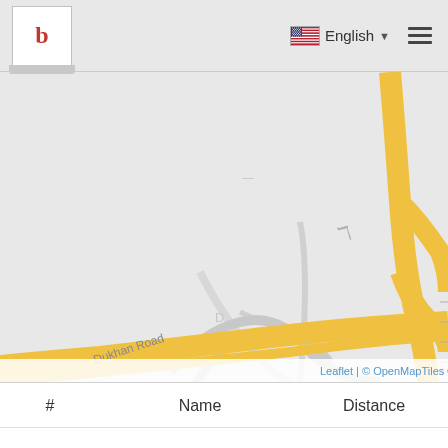b | English ▼ ☰
[Figure (map): Street map showing Dukhan Road area with yellow roads on light grey background. Attribution: Leaflet | © OpenMapTiles © OpenStreetMap contributors]
| # | Name | Distance |
| --- | --- | --- |